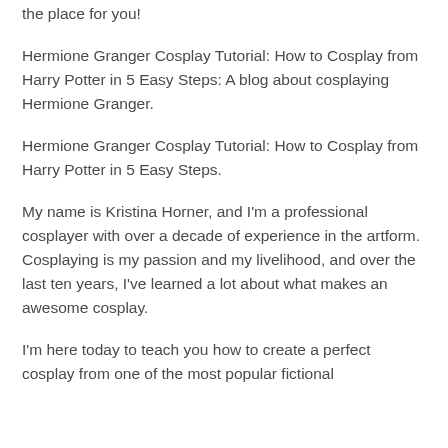the place for you!
Hermione Granger Cosplay Tutorial: How to Cosplay from Harry Potter in 5 Easy Steps: A blog about cosplaying Hermione Granger.
Hermione Granger Cosplay Tutorial: How to Cosplay from Harry Potter in 5 Easy Steps.
My name is Kristina Horner, and I'm a professional cosplayer with over a decade of experience in the artform. Cosplaying is my passion and my livelihood, and over the last ten years, I've learned a lot about what makes an awesome cosplay.
I'm here today to teach you how to create a perfect cosplay from one of the most popular fictional characters